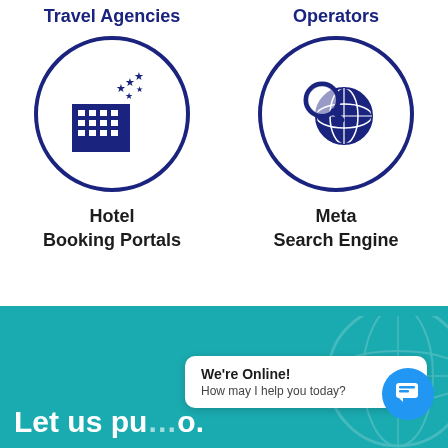Travel Agencies
[Figure (illustration): Icon of a hotel building with stars inside a circle, dark navy blue style]
Hotel
Booking Portals
Operators
[Figure (illustration): Icon of a magnifying glass over a globe inside a circle, dark navy blue style]
Meta
Search Engine
[Figure (infographic): Teal/turquoise background section with globe watermark, chat bubble overlay saying We're Online / How may I help you today?, and partial bold white text: Let us pu...o.]
We're Online!
How may I help you today?